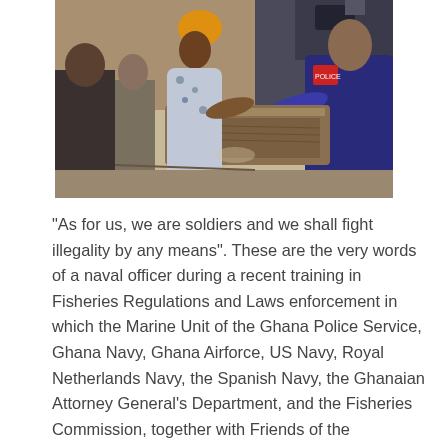[Figure (photo): A woman in a yellow hat and floral dress stands near a wooden boat, being spoken to or examined by a police officer in a dark blue uniform. Other people and a camera crew are visible in the background in an outdoor waterfront setting.]
“As for us, we are soldiers and we shall fight illegality by any means”. These are the very words of a naval officer during a recent training in Fisheries Regulations and Laws enforcement in which the Marine Unit of the Ghana Police Service, Ghana Navy, Ghana Airforce, US Navy, Royal Netherlands Navy, the Spanish Navy, the Ghanaian Attorney General’s Department, and the Fisheries Commission, together with Friends of the